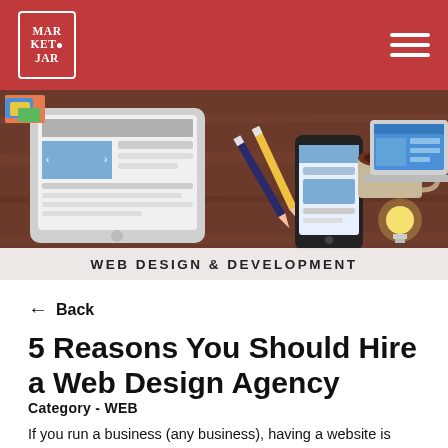Market Jar — Navigation header with logo and hamburger menu
[Figure (illustration): Hero image showing web design tools on a wooden desk: tablet with website wireframe, smartphone, pencils, coffee cup, lightbulb, and laptop. Label 'WEB DESIGN & DEVELOPMENT' at bottom.]
← Back
5 Reasons You Should Hire a Web Design Agency
Category - WEB
If you run a business (any business), having a website is essential.
But the old adage – if you build it they will come, doesn't necessarily ring true here. That phrase should be altered